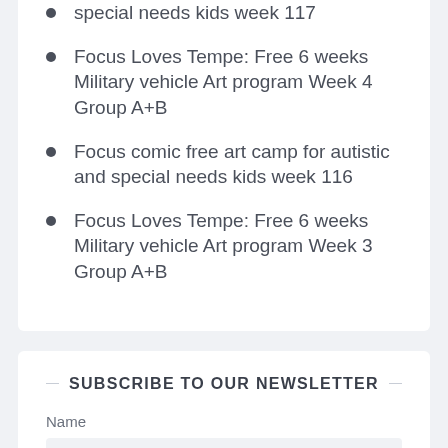special needs kids week 117
Focus Loves Tempe: Free 6 weeks Military vehicle Art program Week 4 Group A+B
Focus comic free art camp for autistic and special needs kids week 116
Focus Loves Tempe: Free 6 weeks Military vehicle Art program Week 3 Group A+B
SUBSCRIBE TO OUR NEWSLETTER
Name